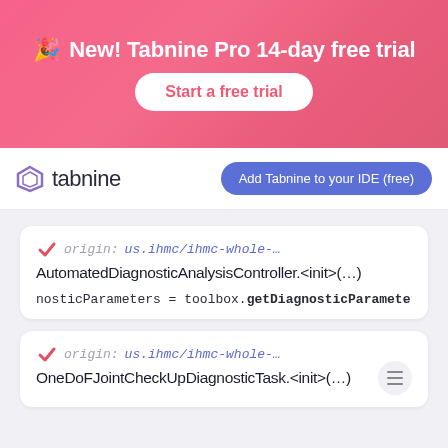[Figure (infographic): Pink gradient banner advertising Tabnine Pro 14-day free trial with a party popper emoji and a 'Start a free trial' button]
[Figure (logo): Tabnine logo with hexagonal icon on left and 'tabnine' text, plus 'Add Tabnine to your IDE (free)' blue pill button on right]
origin: us.ihmc/ihmc-whole-…
AutomatedDiagnosticAnalysisController.<init>(…)
nosticParameters = toolbox.getDiagnosticParameters();
origin: us.ihmc/ihmc-whole-…
OneDoFJointCheckUpDiagnosticTask.<init>(…)